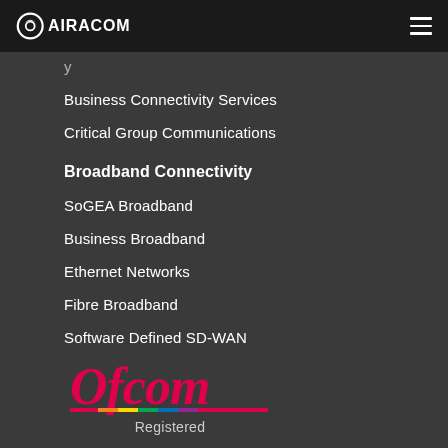AIRACOM
Business Connectivity Services
Critical Group Communications
Broadband Connectivity
SoGEA Broadband
Business Broadband
Ethernet Networks
Fibre Broadband
Software Defined SD-WAN
[Figure (logo): Ofcom Registered logo with multicolour bar]
Registered